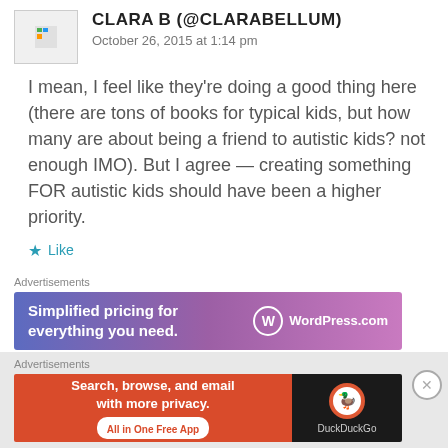CLARA B (@CLARABELLUM)
October 26, 2015 at 1:14 pm
I mean, I feel like they're doing a good thing here (there are tons of books for typical kids, but how many are about being a friend to autistic kids? not enough IMO). But I agree — creating something FOR autistic kids should have been a higher priority.
Like
Advertisements
[Figure (screenshot): WordPress.com advertisement banner: 'Simplified pricing for everything you need.' with WordPress logo]
Advertisements
[Figure (screenshot): DuckDuckGo advertisement banner: 'Search, browse, and email with more privacy. All in One Free App' with DuckDuckGo logo]